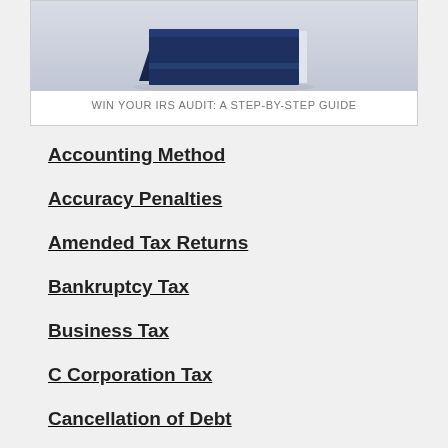[Figure (illustration): Book cover image for 'Win Your IRS Audit: A Step-by-Step Guide' shown at top of page]
WIN YOUR IRS AUDIT: A STEP-BY-STEP GUIDE
Accounting Method
Accuracy Penalties
Amended Tax Returns
Bankruptcy Tax
Business Tax
C Corporation Tax
Cancellation of Debt
Capital vs. Ordinary